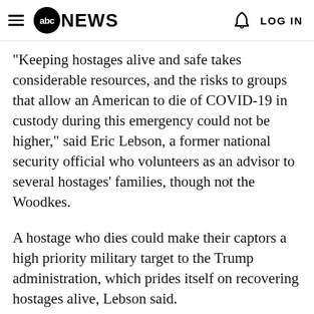abc NEWS | LOG IN
"Keeping hostages alive and safe takes considerable resources, and the risks to groups that allow an American to die of COVID-19 in custody during this emergency could not be higher," said Eric Lebson, a former national security official who volunteers as an advisor to several hostages' families, though not the Woodkes.
A hostage who dies could make their captors a high priority military target to the Trump administration, which prides itself on recovering hostages alive, Lebson said.
Secretary of State Mike Pompeo on Wednesday